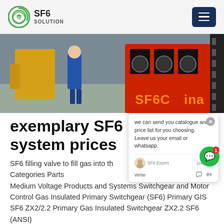SF6 SOLUTION
[Figure (photo): Industrial SF6 electrical equipment photo with workers; overlay text reads 'SF6China']
exemplary SF6 RMU system prices
SF6 filling valve to fill gas into the standard material Categories Parts Medium Voltage Products and Systems Switchgear and Motor Control Gas Insulated Primary Switchgear (SF6) Primary GIS SF6 ZX2/2.2 Primary Gas Insulated Switchgear ZX2.2 SF6 (ANSI)
Get Price